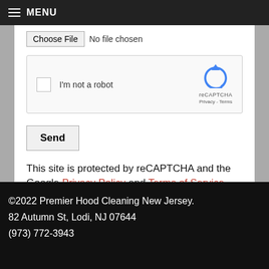MENU
[Figure (screenshot): File chooser UI element: 'Choose File' button with 'No file chosen' text beside it]
[Figure (screenshot): reCAPTCHA widget with checkbox labeled 'I'm not a robot' and reCAPTCHA logo with 'Privacy - Terms']
[Figure (screenshot): Send button]
This site is protected by reCAPTCHA and the Google Privacy Policy and Terms of Service apply.
©2022 Premier Hood Cleaning New Jersey.
82 Autumn St, Lodi, NJ 07644
(973) 772-3943